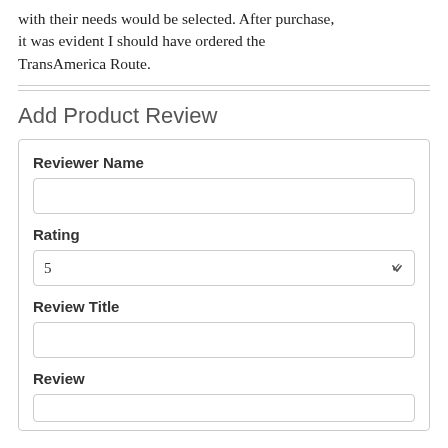with their needs would be selected. After purchase, it was evident I should have ordered the TransAmerica Route.
Add Product Review
Reviewer Name
Rating
5
Review Title
Review